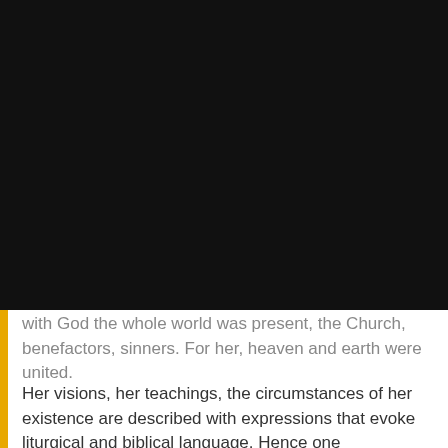Notice
This website or its third party tools use cookies, which are necessary to its functioning and required to achieve the purposes illustrated in the cookie policy. If you want to know more or withdraw your consent to all or some of the cookies, please refer to the cookie policy.
By closing this banner, scrolling this page, clicking a link or continuing to browse otherwise, you agree to the use of cookies.
with God the whole world was present, the Church, benefactors, sinners. For her, heaven and earth were united.
Her visions, her teachings, the circumstances of her existence are described with expressions that evoke liturgical and biblical language. Hence one